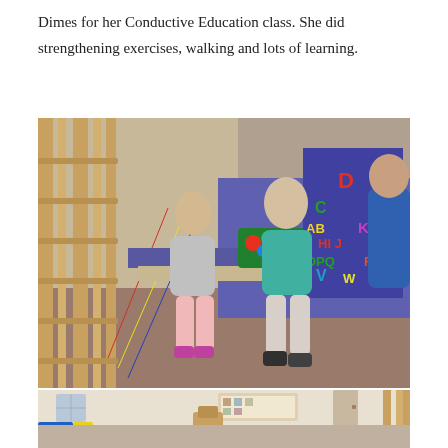Dimes for her Conductive Education class. She did strengthening exercises, walking and lots of learning.
[Figure (photo): Two young children standing at a therapy table with colorful balls, next to a wall-mounted alphabet board showing letters A B C D H I J K O P Q R V W. Wooden wall bars visible on the left. An adult in a blue shirt stands to the right.]
[Figure (photo): Classroom scene with young children sitting on the floor in a group activity. Colorful foam mats visible, a bulletin board on the wall, and a wooden structure in the center of the room.]